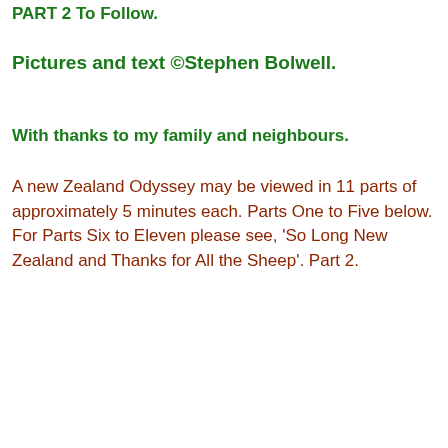PART 2 To Follow.
Pictures and text  ©Stephen Bolwell.
With thanks to my family and neighbours.
A new Zealand Odyssey may be viewed in 11 parts of approximately 5 minutes each. Parts One to Five below. For Parts Six to Eleven please see, 'So Long New Zealand and Thanks for All the Sheep'. Part 2.